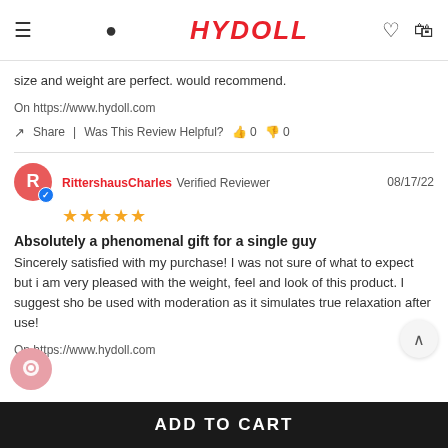HYDOLL
size and weight are perfect. would recommend.
On https://www.hydoll.com
Share | Was This Review Helpful? 0 0
RittershausCharles Verified Reviewer 08/17/22 ★★★★★
Absolutely a phenomenal gift for a single guy
Sincerely satisfied with my purchase! I was not sure of what to expect but i am very pleased with the weight, feel and look of this product. I suggest sho be used with moderation as it simulates true relaxation after use!
On https://www.hydoll.com
ADD TO CART